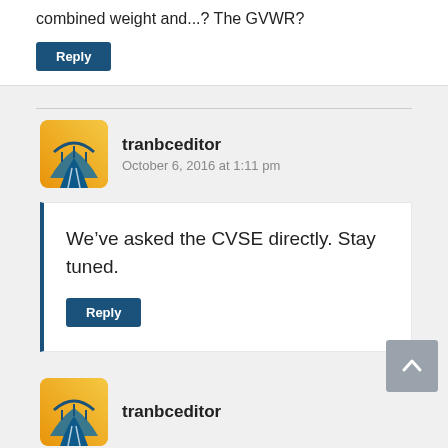combined weight and...? The GVWR?
Reply
tranbceditor
October 6, 2016 at 1:11 pm
We've asked the CVSE directly. Stay tuned.
Reply
[Figure (logo): tranbceditor avatar logo - yellow/orange background with highway/road graphic and bridge icon]
tranbceditor
[Figure (logo): tranbceditor avatar logo - yellow/orange background with highway/road graphic and bridge icon (partial, bottom of page)]